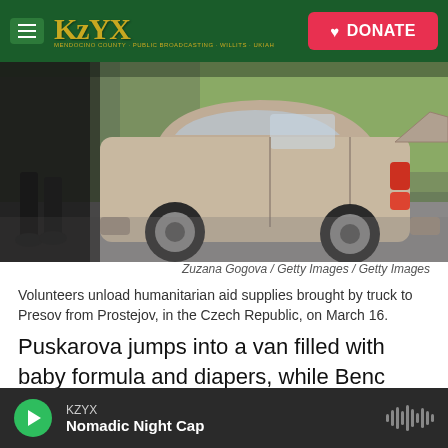KZYX — DONATE
[Figure (photo): A person standing behind a small tan/beige hatchback car with the trunk open, outdoors near a green tree backdrop]
Zuzana Gogova / Getty Images / Getty Images
Volunteers unload humanitarian aid supplies brought by truck to Presov from Prostejov, in the Czech Republic, on March 16.
Puskarova jumps into a van filled with baby formula and diapers, while Benc climbs into another vehicle filled with canned goods, medicine and sleeping bags. Other volunteers making the journey include
KZYX — Nomadic Night Cap